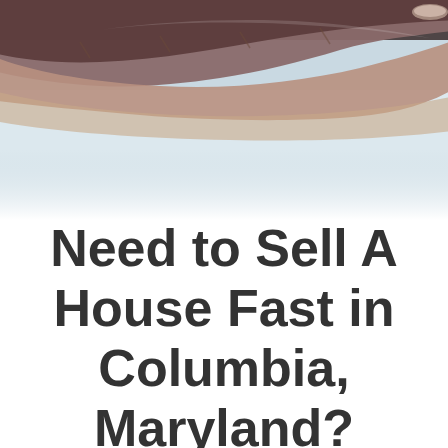[Figure (photo): Close-up photograph of a human hand held flat, palm-down, against a light blue-gray background, showing fingers and skin texture.]
Need to Sell A House Fast in Columbia, Maryland?